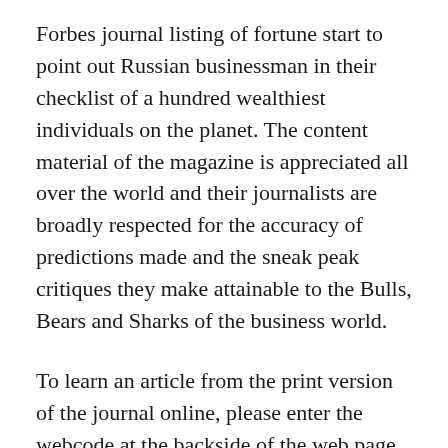Forbes journal listing of fortune start to point out Russian businessman in their checklist of a hundred wealthiest individuals on the planet. The content material of the magazine is appreciated all over the world and their journalists are broadly respected for the accuracy of predictions made and the sneak peak critiques they make attainable to the Bulls, Bears and Sharks of the business world.
To learn an article from the print version of the journal online, please enter the webcode at the backside of the web page in the box below. It's loaded with useful information including, advertising, administration, money and enterprise begin-ups. The success Australia's Finest appears to proceed to grow and the company is exhibiting at quite a few major exhibitions in 2010 exhibiting off it is impressive portfolio of